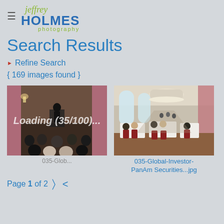Jeffrey Holmes Photography — Logo and navigation
Search Results
Refine Search
{ 169 images found }
[Figure (photo): Conference presentation photo — speaker at podium with audience seated in foreground, pink curtains in background]
[Figure (photo): Banquet hall with people seated at tables, arched windows, large drum pendant lights — 035-Global-Investor-PanAm Securities...jpg]
035-Global-Investor-PanAm Securities...jpg
Page 1 of 2  >  <